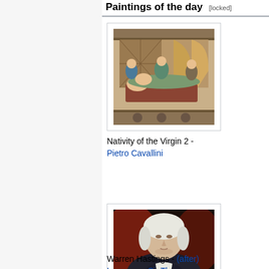Paintings of the day [locked]
[Figure (illustration): Medieval painting depicting the Nativity of the Virgin, showing figures around a bed scene with decorative architectural background, attributed to Pietro Cavallini.]
Nativity of the Virgin 2 - Pietro Cavallini
[Figure (illustration): Portrait painting of Warren Hastings, a man in dark clothing with white powdered hair, against a reddish background, after Lawrence, Sir Thomas.]
Warren Hastings - (after) Lawrence, Sir Thomas